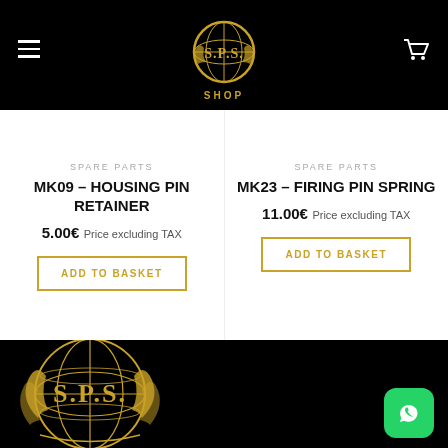[Figure (logo): SPS Shop logo header with hamburger menu and cart icon on black background]
SPARE PARTS
MK09 – HOUSING PIN RETAINER
5.00€ Price excluding TAX
ADD TO BASKET
SPARE PARTS
MK23 – FIRING PIN SPRING
11.00€ Price excluding TAX
ADD TO BASKET
[Figure (logo): Large SPS golden globe logo with laurel wreath on black background, with WhatsApp button in bottom right]